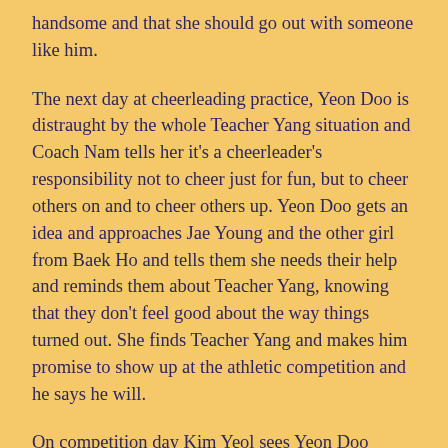handsome and that she should go out with someone like him.
The next day at cheerleading practice, Yeon Doo is distraught by the whole Teacher Yang situation and Coach Nam tells her it's a cheerleader's responsibility not to cheer just for fun, but to cheer others on and to cheer others up. Yeon Doo gets an idea and approaches Jae Young and the other girl from Baek Ho and tells them she needs their help and reminds them about Teacher Yang, knowing that they don't feel good about the way things turned out. She finds Teacher Yang and makes him promise to show up at the athletic competition and he says he will.
On competition day Kim Yeol sees Yeon Doo pacing alone in the hall. He gives her Vanilla Milk, telling her he wants to be different from from Dong Jae. He then tells Yeon Doo that at first, he found her funny and fun but lately he's been making her feel all sorts of different emotions. Yeon Doo apologizes and starts to walk away. But then Kim Yeol grabs her into a